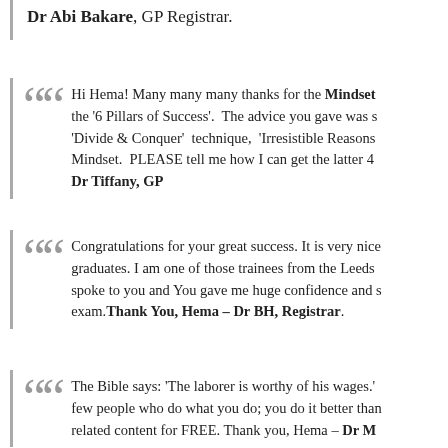Dr Abi Bakare, GP Registrar.
Hi Hema! Many many many thanks for the Mindset the '6 Pillars of Success'. The advice you gave was 'Divide & Conquer' technique, 'Irresistible Reasons Mindset. PLEASE tell me how I can get the latter 4 – Dr Tiffany, GP
Congratulations for your great success. It is very nice graduates. I am one of those trainees from the Leeds spoke to you and You gave me huge confidence and exam. Thank You, Hema – Dr BH, Registrar.
The Bible says: 'The laborer is worthy of his wages.' few people who do what you do; you do it better than related content for FREE. Thank you, Hema – Dr M